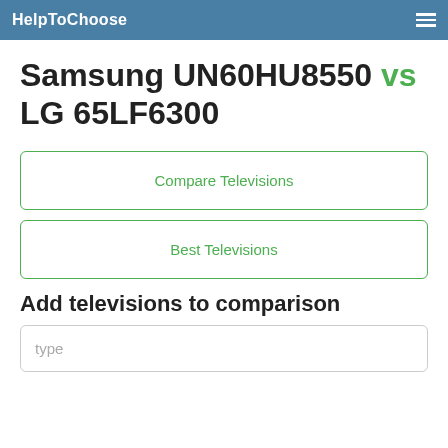HelpToChoose
Samsung UN60HU8550 vs LG 65LF6300
Compare Televisions
Best Televisions
Add televisions to comparison
type